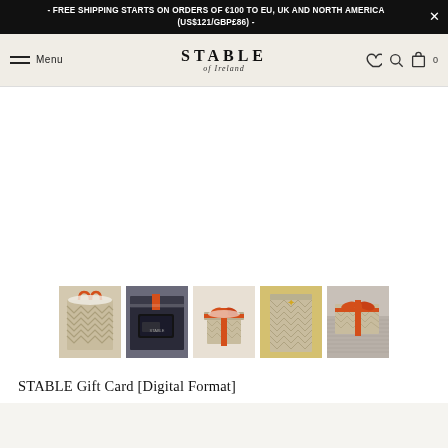- FREE SHIPPING STARTS ON ORDERS OF €100 TO EU, UK AND NORTH AMERICA (US$121/GBP£86) -
STABLE of Ireland — Menu, wishlist, search, cart (0)
[Figure (photo): Five product thumbnail photos showing gift boxes with chevron pattern kraft paper wrapping and orange/red ribbons, and a gift bag. Products from Stable of Ireland brand.]
STABLE Gift Card [Digital Format]